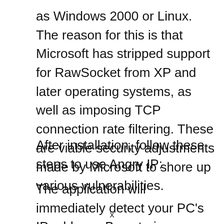as Windows 2000 or Linux. The reason for this is that Microsoft has stripped support for RawSocket from XP and later operating systems, as well as imposing TCP connection rate filtering. These are viable security adjustments made by Microsoft to shore up various vulnerabilities.
After installation, follow these steps to use Angry IP:
The application will immediately detect your PC's IP address. By entering a second IP address, you can then use Angry IP to scan
x